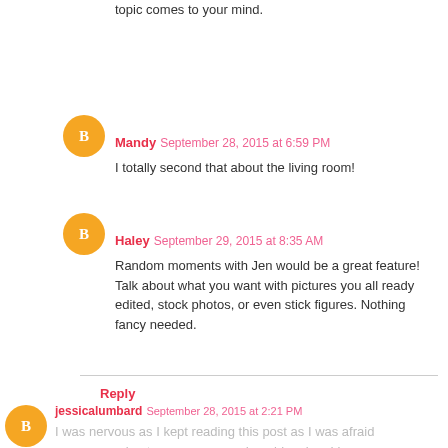topic comes to your mind.
Mandy September 28, 2015 at 6:59 PM
I totally second that about the living room!
Haley September 29, 2015 at 8:35 AM
Random moments with Jen would be a great feature! Talk about what you want with pictures you all ready edited, stock photos, or even stick figures. Nothing fancy needed.
Reply
jessicalumbard September 28, 2015 at 2:21 PM
I was nervous as I kept reading this post as I was afraid you were going to say you were done blogging. I know you used to be a huge Young House Love fan (me, too!) and I